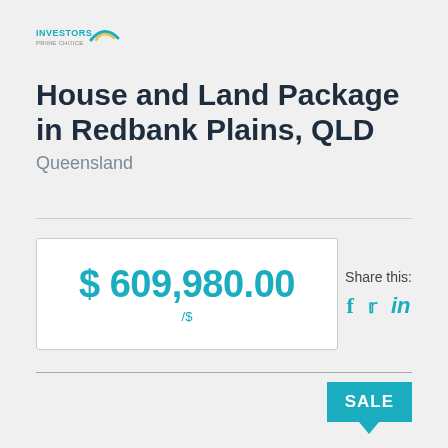[Figure (logo): Investors Choice logo with text INVESTORS and an arc graphic]
House and Land Package in Redbank Plains, QLD
Queensland
$ 609,980.00 /$
Share this: f t in
SALE